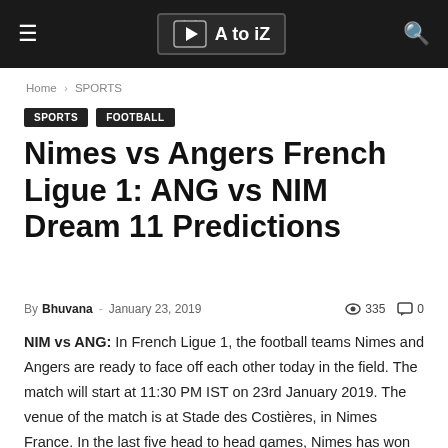A to iZ — Navigation header bar
Home › SPORTS
SPORTS  FOOTBALL
Nimes vs Angers French Ligue 1: ANG vs NIM Dream 11 Predictions
By Bhuvana – January 23, 2019   335   0
NIM vs ANG: In French Ligue 1, the football teams Nimes and Angers are ready to face off each other today in the field. The match will start at 11:30 PM IST on 23rd January 2019. The venue of the match is at Stade des Costières, in Nimes France. In the last five head to head games, Nimes has won three games and Angers has won two games.